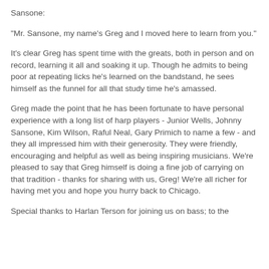Sansone:
"Mr. Sansone, my name's Greg and I moved here to learn from you."
It's clear Greg has spent time with the greats, both in person and on record, learning it all and soaking it up. Though he admits to being poor at repeating licks he's learned on the bandstand, he sees himself as the funnel for all that study time he's amassed.
Greg made the point that he has been fortunate to have personal experience with a long list of harp players - Junior Wells, Johnny Sansone, Kim Wilson, Raful Neal, Gary Primich to name a few - and they all impressed him with their generosity. They were friendly, encouraging and helpful as well as being inspiring musicians. We're pleased to say that Greg himself is doing a fine job of carrying on that tradition - thanks for sharing with us, Greg! We're all richer for having met you and hope you hurry back to Chicago.
Special thanks to Harlan Terson for joining us on bass; to the